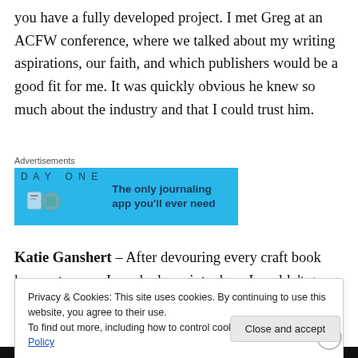you have a fully developed project. I met Greg at an ACFW conference, where we talked about my writing aspirations, our faith, and which publishers would be a good fit for me. It was quickly obvious he knew so much about the industry and that I could trust him.
[Figure (other): Day One app advertisement banner with blue background showing app icons and text: 'The only journaling app you'll ever need']
Katie Ganshert – After devouring every craft book known to man, I reached a point where I couldn't go any further
Privacy & Cookies: This site uses cookies. By continuing to use this website, you agree to their use.
To find out more, including how to control cookies, see here: Cookie Policy